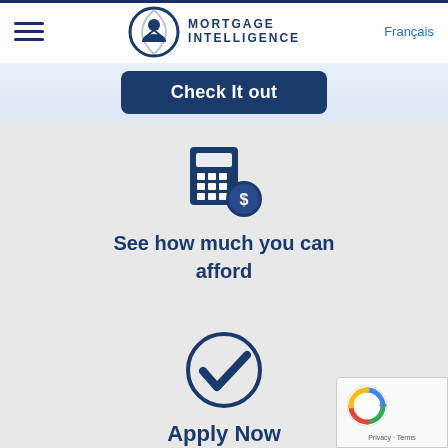[Figure (logo): Mortgage Intelligence logo: circular icon with house and person silhouette in dark blue, next to the text MORTGAGE INTELLIGENCE in bold dark blue capital letters]
Français
Check It out
[Figure (illustration): Calculator icon with dollar coin badge, in dark blue, representing mortgage/affordability calculation tool]
See how much you can afford
[Figure (illustration): Checkmark inside a circle icon, in dark blue, representing an apply now action]
Apply Now
[Figure (other): Google reCAPTCHA badge in bottom right corner showing reCAPTCHA logo with Privacy and Terms links]